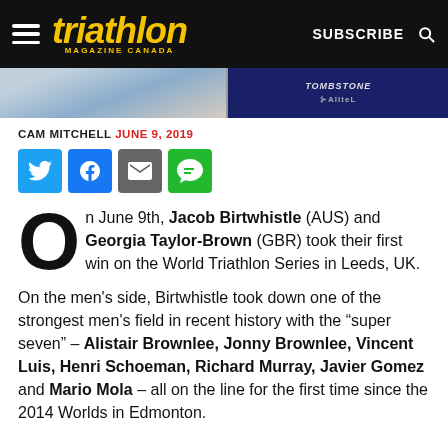triathlon MAGAZINE CANADA | SUBSCRIBE
[Figure (photo): Two-panel photo strip: left panel shows a swimmer/athlete with blue and yellow, right panel shows athletes with a dark blue background and sponsor logos including TOMBSTONE and ALITEL]
CAM MITCHELL  JUNE 9, 2019
On June 9th, Jacob Birtwhistle (AUS) and Georgia Taylor-Brown (GBR) took their first win on the World Triathlon Series in Leeds, UK.
On the men's side, Birtwhistle took down one of the strongest men's field in recent history with the “super seven” – Alistair Brownlee, Jonny Brownlee, Vincent Luis, Henri Schoeman, Richard Murray, Javier Gomez and Mario Mola – all on the line for the first time since the 2014 Worlds in Edmonton.